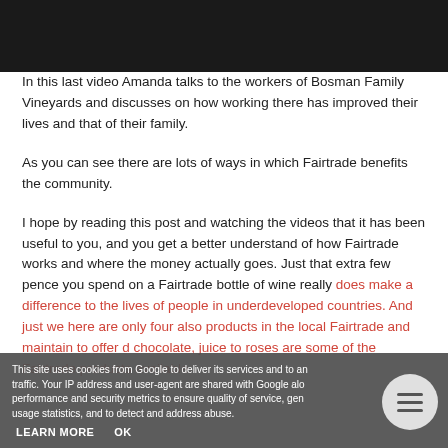[Figure (photo): Black bar at the top representing a video thumbnail or header image]
In this last video Amanda talks to the workers of Bosman Family Vineyards and discusses on how working there has improved their lives and that of their family.
As you can see there are lots of ways in which Fairtrade benefits the community.
I hope by reading this post and watching the videos that it has been useful to you, and you get a better understand of how Fairtrade works and where the money actually goes. Just that extra few pence you spend on a Fairtrade bottle of wine really does make a difference to the lives of people in underdeveloped countries. And just we here are only four also products in the local Fairtrade and maintain to offer d chocolate, juice to roses are some of the Fairtrade products available.
This site uses cookies from Google to deliver its services and to analyse traffic. Your IP address and user-agent are shared with Google along with performance and security metrics to ensure quality of service, generate usage statistics, and to detect and address abuse.